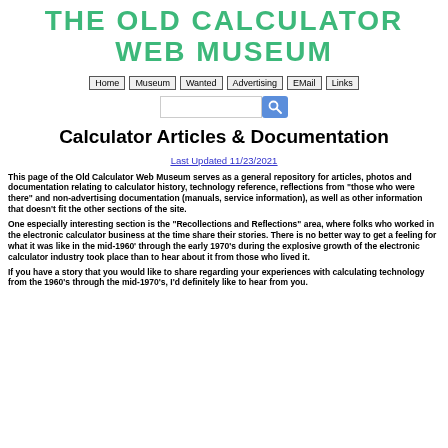THE OLD CALCULATOR WEB MUSEUM
[Figure (screenshot): Navigation bar with links: Home, Museum, Wanted, Advertising, EMail, Links]
[Figure (screenshot): Search box with blue search button containing magnifying glass icon]
Calculator Articles & Documentation
Last Updated 11/23/2021
This page of the Old Calculator Web Museum serves as a general repository for articles, photos and documentation relating to calculator history, technology reference, reflections from "those who were there" and non-advertising documentation (manuals, service information), as well as other information that doesn't fit the other sections of the site.
One especially interesting section is the "Recollections and Reflections" area, where folks who worked in the electronic calculator business at the time share their stories. There is no better way to get a feeling for what it was like in the mid-1960' through the early 1970's during the explosive growth of the electronic calculator industry took place than to hear about it from those who lived it.
If you have a story that you would like to share regarding your experiences with calculating technology from the 1960's through the mid-1970's, I'd definitely like to hear from you.